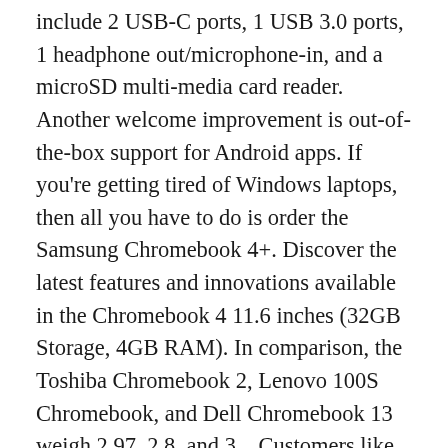include 2 USB-C ports, 1 USB 3.0 ports, 1 headphone out/microphone-in, and a microSD multi-media card reader. Another welcome improvement is out-of-the-box support for Android apps. If you're getting tired of Windows laptops, then all you have to do is order the Samsung Chromebook 4+. Discover the latest features and innovations available in the Chromebook 4 11.6 inches (32GB Storage, 4GB RAM). In comparison, the Toshiba Chromebook 2, Lenovo 100S Chromebook, and Dell Chromebook 13 weigh 2.97, 2.8, and 3... Customers like Samsung Chromebook 3 way more Samsung Chromebook 3, the cheaper option, tends to get more favorable reviews than Acer Aspire 1 [4.4 vs 3.6 ]. The iPad Pro,